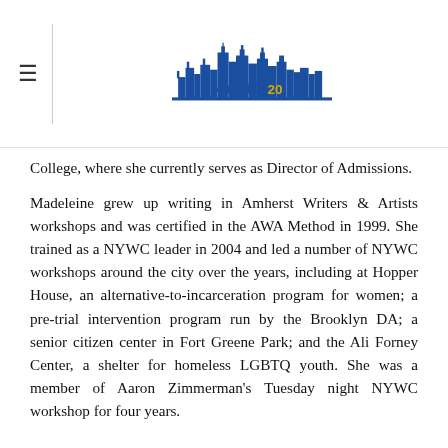≡ NYWC20 logo
College, where she currently serves as Director of Admissions.
Madeleine grew up writing in Amherst Writers & Artists workshops and was certified in the AWA Method in 1999. She trained as a NYWC leader in 2004 and led a number of NYWC workshops around the city over the years, including at Hopper House, an alternative-to-incarceration program for women; a pre-trial intervention program run by the Brooklyn DA; a senior citizen center in Fort Greene Park; and the Ali Forney Center, a shelter for homeless LGBTQ youth. She was a member of Aaron Zimmerman's Tuesday night NYWC workshop for four years.